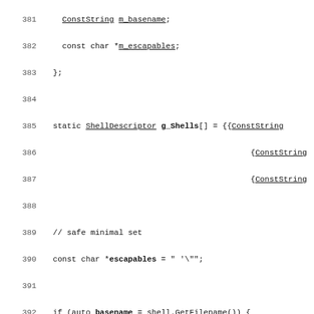Code listing lines 381-411, C++ source code showing ShellDescriptor array and string escaping logic